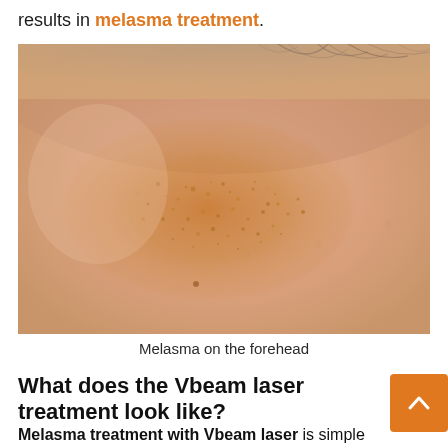results in melasma treatment.
[Figure (photo): Close-up photograph of a forehead showing melasma — brown/orange pigmentation patches on light skin with fine hair visible at the top]
Melasma on the forehead
What does the Vbeam laser treatment look like?
Melasma treatment with Vbeam laser is simple